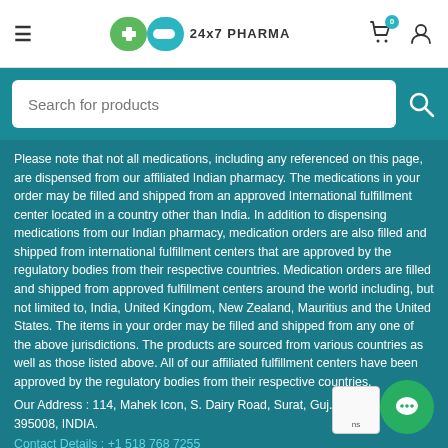[Figure (logo): 24x7 PHARMA logo with green and teal pill icon]
[Figure (screenshot): Search bar with text 'Search for products' and search icon on teal background]
Please note that not all medications, including any referenced on this page, are dispensed from our affiliated Indian pharmacy. The medications in your order may be filled and shipped from an approved International fulfillment center located in a country other than India. In addition to dispensing medications from our Indian pharmacy, medication orders are also filled and shipped from international fulfillment centers that are approved by the regulatory bodies from their respective countries. Medication orders are filled and shipped from approved fulfillment centers around the world including, but not limited to, India, United Kingdom, New Zealand, Mauritius and the United States. The items in your order may be filled and shipped from any one of the above jurisdictions. The products are sourced from various countries as well as those listed above. All of our affiliated fulfillment centers have been approved by the regulatory bodies from their respective countries.
Our Address : 114, Mahek Icon, S. Dairy Road, Surat, Guj... 395008, INDIA.
Contact Details : +1 518 768 7255